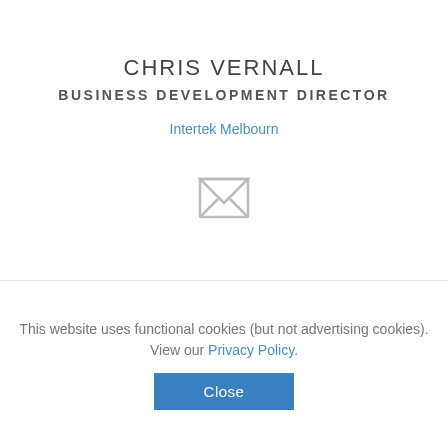CHRIS VERNALL
BUSINESS DEVELOPMENT DIRECTOR
Intertek Melbourn
[Figure (illustration): Grey envelope/email icon]
[Figure (screenshot): Empty white content box with blue scrollbar element at bottom right]
This website uses functional cookies (but not advertising cookies). View our Privacy Policy.
Close